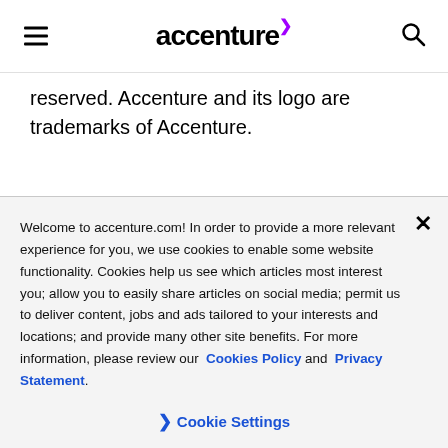[Figure (logo): Accenture logo with purple arrow accent mark and hamburger menu icon on left, search icon on right]
reserved. Accenture and its logo are trademarks of Accenture.
Welcome to accenture.com! In order to provide a more relevant experience for you, we use cookies to enable some website functionality. Cookies help us see which articles most interest you; allow you to easily share articles on social media; permit us to deliver content, jobs and ads tailored to your interests and locations; and provide many other site benefits. For more information, please review our Cookies Policy and Privacy Statement.
Cookie Settings